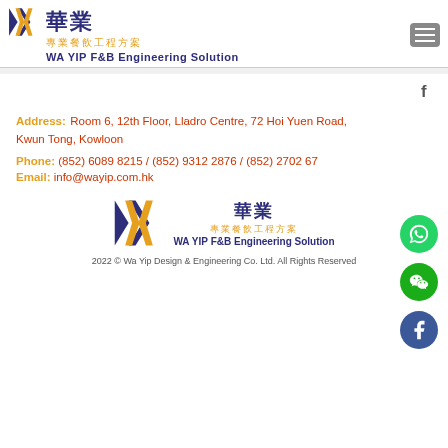[Figure (logo): Wa Yip F&B Engineering Solution logo with Chinese characters 華業 and 專業餐飲工程方案, navy and gold colors, W icon]
Address: Room 6, 12th Floor, Lladro Centre, 72 Hoi Yuen Road, Kwun Tong, Kowloon
Phone: (852) 6089 8215 / (852) 9312 2876 / (852) 2702 67
Email: info@wayip.com.hk
[Figure (logo): Wa Yip F&B Engineering Solution footer logo with Chinese characters 華業 and 專業餐飲工程方案]
2022 © Wa Yip Design & Engineering Co. Ltd. All Rights Reserved